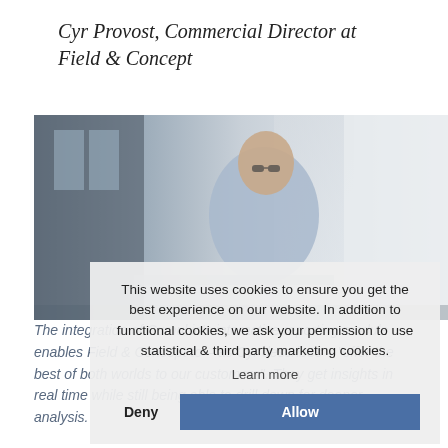Cyr Provost, Commercial Director at Field & Concept
[Figure (photo): Man in glasses sitting at desk in an office with large windows and curtains, working at a laptop]
The integration of Cumul.io's interactive reporting module enables Field & Concept to – as Cyr describes – "offer the best of both worlds to our customers". They get insights in real time while still being able to drill down for deeper analysis.
This website uses cookies to ensure you get the best experience on our website. In addition to functional cookies, we ask your permission to use statistical & third party marketing cookies.
Learn more